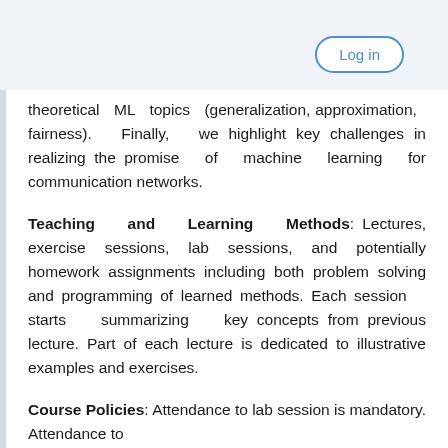Log in
theoretical ML topics (generalization, approximation, fairness). Finally, we highlight key challenges in realizing the promise of machine learning for communication networks.
Teaching and Learning Methods: Lectures, exercise sessions, lab sessions, and potentially homework assignments including both problem solving and programming of learned methods. Each session starts summarizing key concepts from previous lecture. Part of each lecture is dedicated to illustrative examples and exercises.
Course Policies: Attendance to lab session is mandatory. Attendance to